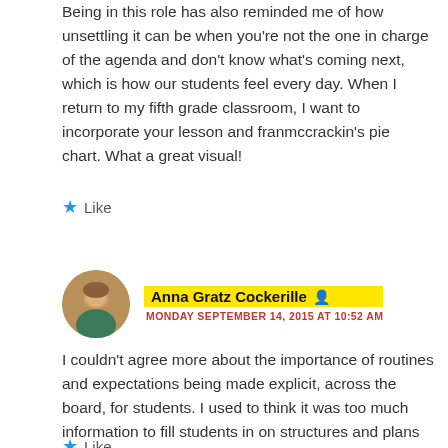Being in this role has also reminded me of how unsettling it can be when you're not the one in charge of the agenda and don't know what's coming next, which is how our students feel every day. When I return to my fifth grade classroom, I want to incorporate your lesson and franmccrackin's pie chart. What a great visual!
★ Like
Anna Gratz Cockerille — MONDAY SEPTEMBER 14, 2015 AT 10:52 AM
I couldn't agree more about the importance of routines and expectations being made explicit, across the board, for students. I used to think it was too much information to fill students in on structures and plans like this, but now I think the opposite. I love the idea of the photo of the carpentry workshop. I should take photos of my brother's studio to bring!
★ Like